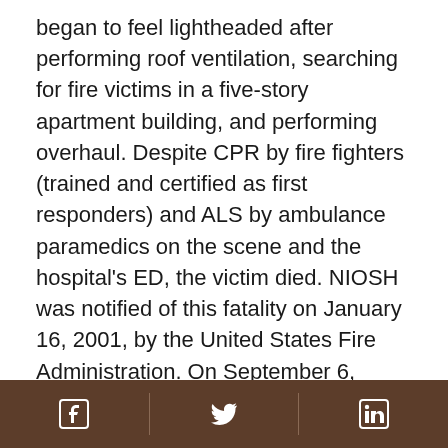began to feel lightheaded after performing roof ventilation, searching for fire victims in a five-story apartment building, and performing overhaul. Despite CPR by fire fighters (trained and certified as first responders) and ALS by ambulance paramedics on the scene and the hospital's ED, the victim died. NIOSH was notified of this fatality on January 16, 2001, by the United States Fire Administration. On September 6, 2001, NIOSH contacted the affected Fire Department (FD) to initiate the investigation. On December 2, 2002, a Safety and Occupational Health Specialist, an occupational physician, and an occupational nurse practitioner from the NIOSH Fire Fighter Fatality Investigation Team traveled to New York to conduct an onsite investigation of the incident.
[Facebook] [Twitter] [LinkedIn]